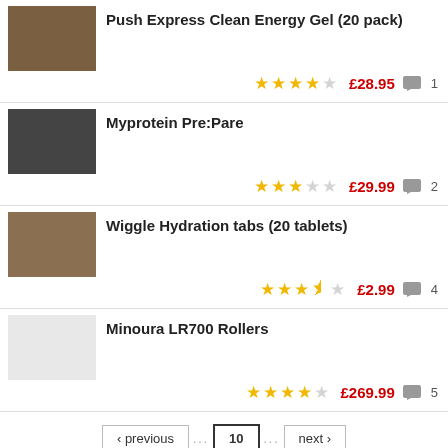Push Express Clean Energy Gel (20 pack)
★★★★☆ £28.95 1
Myprotein Pre:Pare
★★★☆☆ £29.99 2
Wiggle Hydration tabs (20 tablets)
★★★½☆ £2.99 4
Minoura LR700 Rollers
★★★★☆ £269.99 5
‹ previous  10  next ›